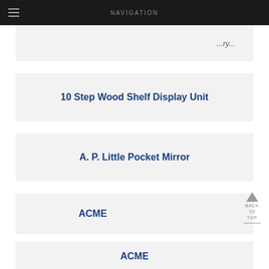NAVIGATION
...ry...
10 Step Wood Shelf Display Unit
A. P. Little Pocket Mirror
ACME
ACME